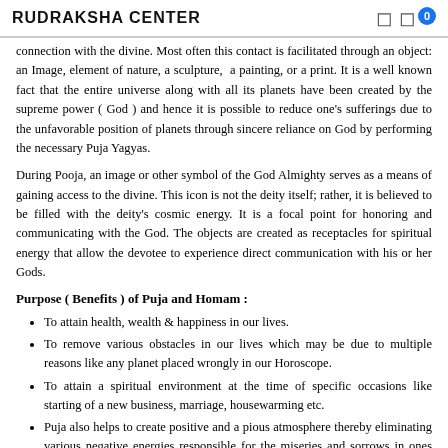RUDRAKSHA CENTER
connection with the divine. Most often this contact is facilitated through an object: an Image, element of nature, a sculpture,  a painting, or a print. It is a well known fact that the entire universe along with all its planets have been created by the supreme power ( God ) and hence it is possible to reduce one's sufferings due to the unfavorable position of planets through sincere reliance on God by performing the necessary Puja Yagyas.
During Pooja, an image or other symbol of the God Almighty serves as a means of gaining access to the divine. This icon is not the deity itself; rather, it is believed to be filled with the deity's cosmic energy. It is a focal point for honoring and communicating with the God. The objects are created as receptacles for spiritual energy that allow the devotee to experience direct communication with his or her Gods.
Purpose ( Benefits ) of Puja and Homam :
To attain health, wealth & happiness in our lives.
To remove various obstacles in our lives which may be due to multiple reasons like any planet placed wrongly in our Horoscope.
To attain a spiritual environment at the time of specific occasions like starting of a new business, marriage, housewarming etc.
Puja also helps to create positive and a pious atmosphere thereby eliminating various negative energies responsible for the miseries and sorrows in ones life.